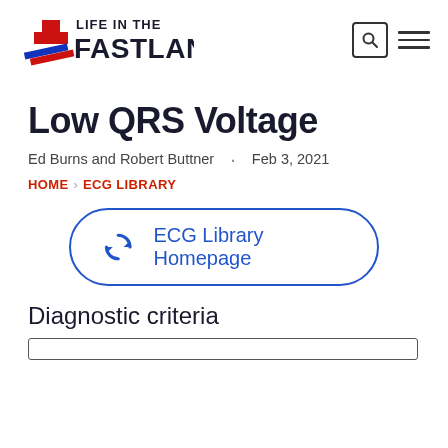Life in the Fast Lane
Low QRS Voltage
Ed Burns and Robert Buttner · Feb 3, 2021
HOME › ECG LIBRARY
[Figure (other): ECG Library Homepage button with refresh/sync icon]
Diagnostic criteria